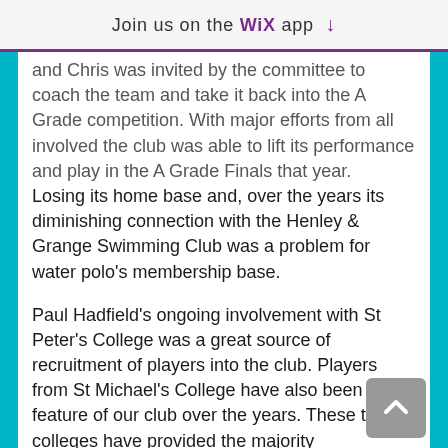Join us on the WiX app ↓
and Chris was invited by the committee to coach the team and take it back into the A Grade competition. With major efforts from all involved the club was able to lift its performance and play in the A Grade Finals that year.
Losing its home base and, over the years its diminishing connection with the Henley & Grange Swimming Club was a problem for water polo's membership base.
Paul Hadfield's ongoing involvement with St Peter's College was a great source of recruitment of players into the club. Players from St Michael's College have also been a feature of our club over the years. These two colleges have provided the majority